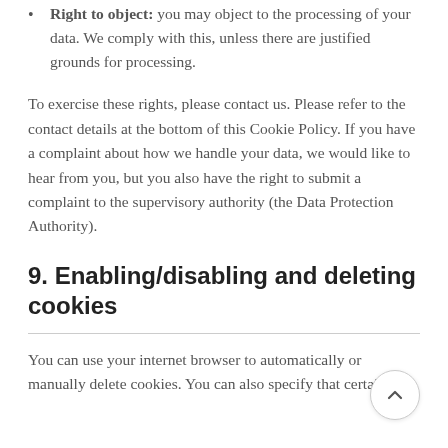Right to object: you may object to the processing of your data. We comply with this, unless there are justified grounds for processing.
To exercise these rights, please contact us. Please refer to the contact details at the bottom of this Cookie Policy. If you have a complaint about how we handle your data, we would like to hear from you, but you also have the right to submit a complaint to the supervisory authority (the Data Protection Authority).
9. Enabling/disabling and deleting cookies
You can use your internet browser to automatically or manually delete cookies. You can also specify that certain